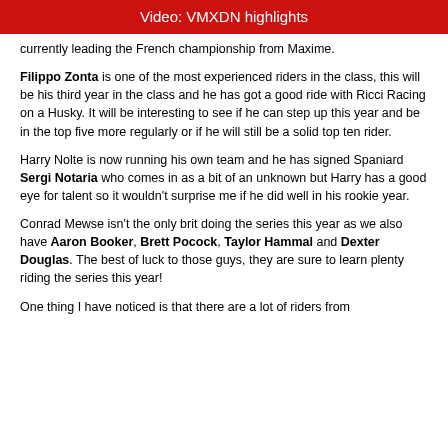Video: VMXDN highlights
currently leading the French championship from Maxime.
Filippo Zonta is one of the most experienced riders in the class, this will be his third year in the class and he has got a good ride with Ricci Racing on a Husky. It will be interesting to see if he can step up this year and be in the top five more regularly or if he will still be a solid top ten rider.
Harry Nolte is now running his own team and he has signed Spaniard Sergi Notaria who comes in as a bit of an unknown but Harry has a good eye for talent so it wouldn't surprise me if he did well in his rookie year.
Conrad Mewse isn't the only brit doing the series this year as we also have Aaron Booker, Brett Pocock, Taylor Hammal and Dexter Douglas. The best of luck to those guys, they are sure to learn plenty riding the series this year!
One thing I have noticed is that there are a lot of riders from